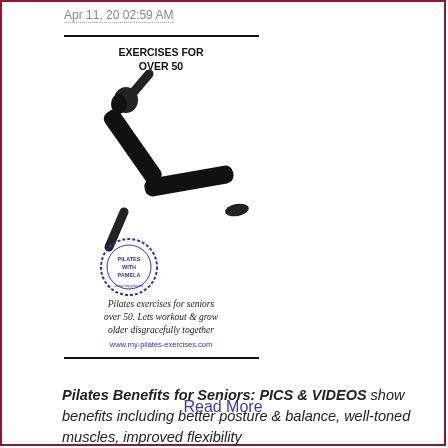Apr 11, 20 02:59 AM
[Figure (photo): Promotional image for 'Exercises for Over 50' featuring a woman in black doing a Pilates side plank pose, with a 'Pilates with Pamela' stamp logo, italic script text reading 'Pilates exercises for seniors over 50. Lets workout & grow older disgracefully together', and URL www.my-pilates-exercises.com]
Pilates Benefits for Seniors: PICS & VIDEOS show benefits including better posture & balance, well-toned muscles, improved flexibility
Read More